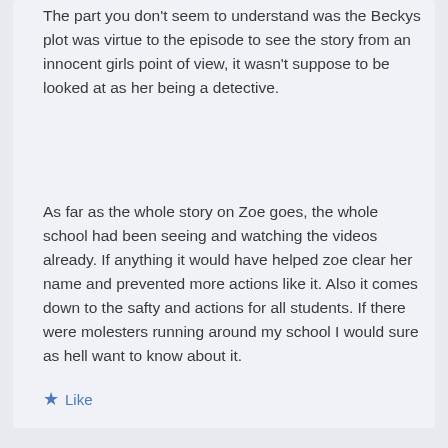The part you don't seem to understand was the Beckys plot was virtue to the episode to see the story from an innocent girls point of view, it wasn't suppose to be looked at as her being a detective.
As far as the whole story on Zoe goes, the whole school had been seeing and watching the videos already. If anything it would have helped zoe clear her name and prevented more actions like it. Also it comes down to the safty and actions for all students. If there were molesters running around my school I would sure as hell want to know about it.
Like